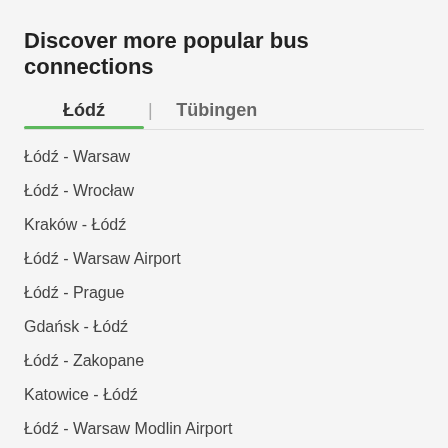Discover more popular bus connections
Łódź | Tübingen
Łódź - Warsaw
Łódź - Wrocław
Kraków - Łódź
Łódź - Warsaw Airport
Łódź - Prague
Gdańsk - Łódź
Łódź - Zakopane
Katowice - Łódź
Łódź - Warsaw Modlin Airport